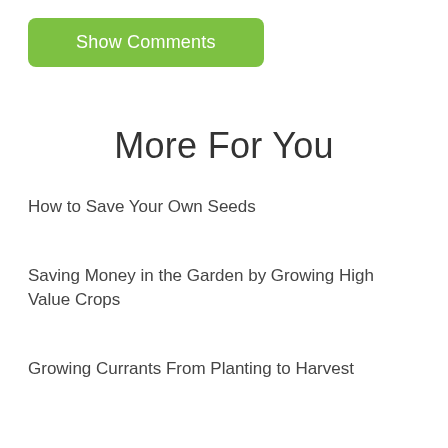[Figure (other): Green rounded button labeled 'Show Comments']
More For You
How to Save Your Own Seeds
Saving Money in the Garden by Growing High Value Crops
Growing Currants From Planting to Harvest